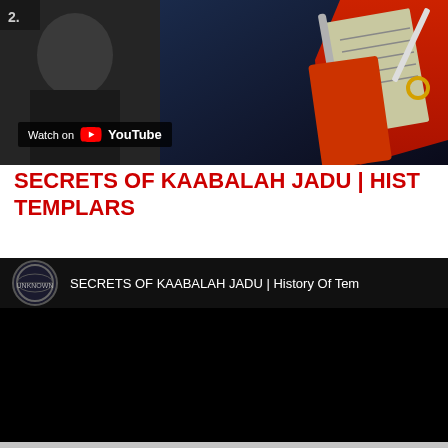[Figure (screenshot): Top banner image showing a person's face on the left and an illustrated hand holding a document on the right, with a 'Watch on YouTube' badge overlay]
SECRETS OF KAABALAH JADU | HIST TEMPLARS
[Figure (screenshot): Embedded YouTube video player showing channel icon and title 'SECRETS OF KAABALAH JADU | History Of Tem...' with black video content area]